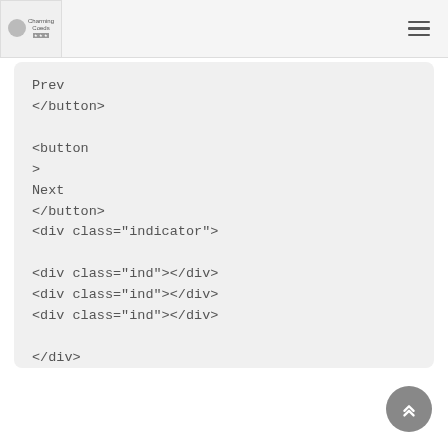Charming Coeds logo and hamburger menu
Prev
</button>

<button
 onclick="next()">
Next
</button>
<div class="indicator">

<div class="ind"></div>
<div class="ind"></div>
<div class="ind"></div>

</div>
</div>